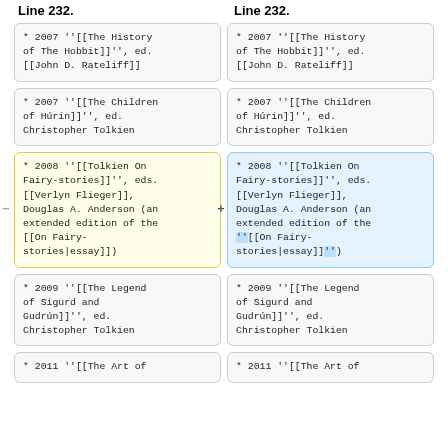Line 232.
Line 232.
* 2007 ''[[The History of The Hobbit]]'', ed. [[John D. Rateliff]]
* 2007 ''[[The History of The Hobbit]]'', ed. [[John D. Rateliff]]
* 2007 ''[[The Children of Húrin]]'', ed. Christopher Tolkien
* 2007 ''[[The Children of Húrin]]'', ed. Christopher Tolkien
* 2008 ''[[Tolkien On Fairy-stories]]'', eds. [[Verlyn Flieger]], Douglas A. Anderson (an extended edition of the [[On Fairy-stories|essay]])
* 2008 ''[[Tolkien On Fairy-stories]]'', eds. [[Verlyn Flieger]], Douglas A. Anderson (an extended edition of the ''[[On Fairy-stories|essay]]'')
* 2009 ''[[The Legend of Sigurd and Gudrún]]'', ed. Christopher Tolkien
* 2009 ''[[The Legend of Sigurd and Gudrún]]'', ed. Christopher Tolkien
* 2011 ''[[The Art of
* 2011 ''[[The Art of